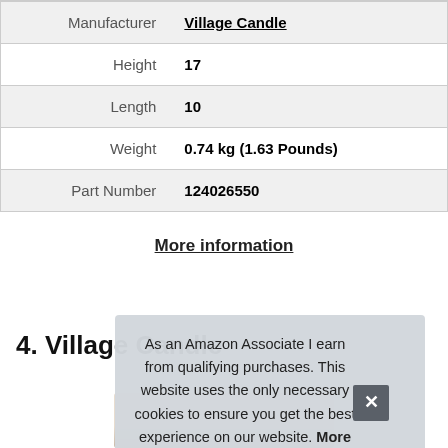| Attribute | Value |
| --- | --- |
| Manufacturer | Village Candle |
| Height | 17 |
| Length | 10 |
| Weight | 0.74 kg (1.63 Pounds) |
| Part Number | 124026550 |
More information
4. Village Candle
As an Amazon Associate I earn from qualifying purchases. This website uses the only necessary cookies to ensure you get the best experience on our website. More information